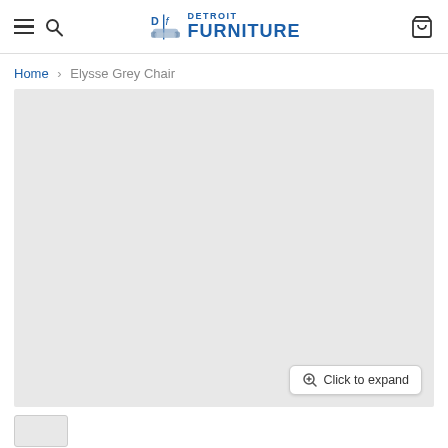Detroit Furniture — navigation header with logo, hamburger menu, search, and cart
Home > Elysse Grey Chair
[Figure (photo): Large light grey product image placeholder area for Elysse Grey Chair, with a 'Click to expand' button at bottom right]